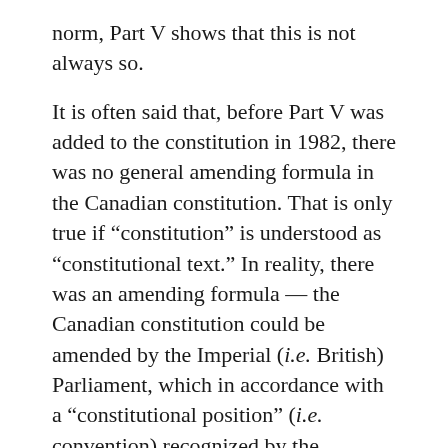norm, Part V shows that this is not always so.
It is often said that, before Part V was added to the constitution in 1982, there was no general amending formula in the Canadian constitution. That is only true if “constitution” is understood as “constitutional text.” In reality, there was an amending formula — the Canadian constitution could be amended by the Imperial (i.e. British) Parliament, which in accordance with a “constitutional position” (i.e. convention) recognized by the Preamble of the Statute of Westminster, 1931, would only act on address of the Canadian Parliament, which, in accordance with a further convention of which the Supreme Court